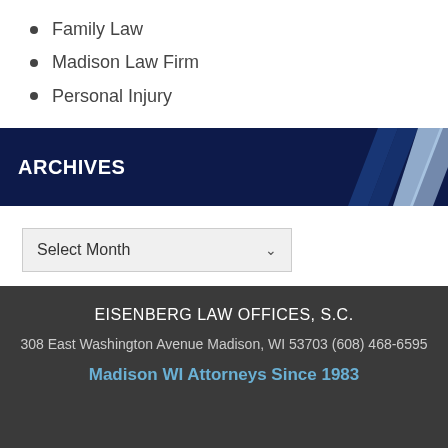Family Law
Madison Law Firm
Personal Injury
ARCHIVES
Select Month
EISENBERG LAW OFFICES, S.C.
308 East Washington Avenue Madison, WI 53703 (608) 468-6595
Madison WI Attorneys Since 1983